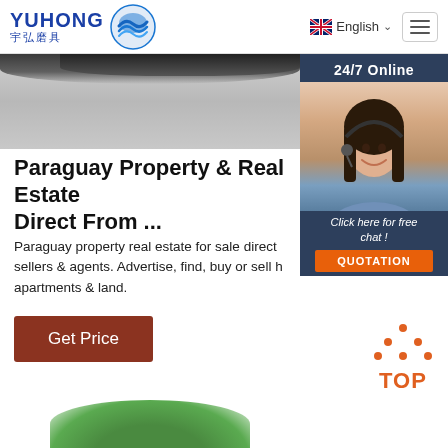[Figure (logo): Yuhong logo with blue wave icon and Chinese characters 宇弘磨具]
[Figure (screenshot): Navigation bar with English language selector and hamburger menu icon]
[Figure (photo): Gray banner image with dark circular objects at top, and a 24/7 Online chat box on the right showing a woman with headset, 'Click here for free chat!' text, and orange QUOTATION button]
Paraguay Property & Real Estate Direct From ...
Paraguay property real estate for sale direct sellers & agents. Advertise, find, buy or sell h apartments & land.
[Figure (illustration): Brown 'Get Price' button]
[Figure (illustration): Orange TOP back-to-top button with dots arranged in triangle above text]